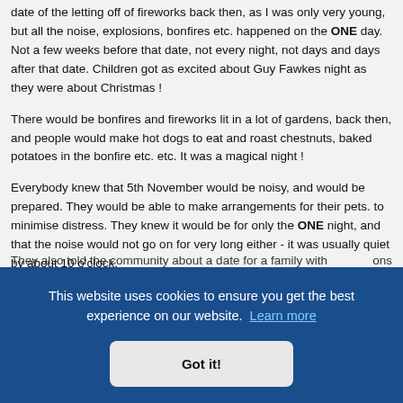date of the letting off of fireworks back then, as I was only very young, but all the noise, explosions, bonfires etc. happened on the ONE day. Not a few weeks before that date, not every night, not days and days after that date. Children got as excited about Guy Fawkes night as they were about Christmas !
There would be bonfires and fireworks lit in a lot of gardens, back then, and people would make hot dogs to eat and roast chestnuts, baked potatoes in the bonfire etc. etc. It was a magical night !
Everybody knew that 5th November would be noisy, and would be prepared. They would be able to make arrangements for their pets. to minimise distress. They knew it would be for only the ONE night, and that the noise would not go on for very long either - it was usually quiet by about 10 o'clock.
They also told the community about a date for a family with mentions ...and ...d I ...the field
[Figure (screenshot): Cookie consent banner overlay: dark blue background with white text 'This website uses cookies to ensure you get the best experience on our website.' with a 'Learn more' link in light blue, and a 'Got it!' button in light grey.]
...cial and